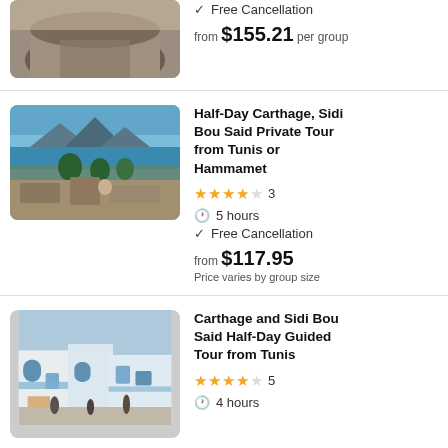[Figure (photo): Partial view of an ancient Roman amphitheater/ruins, top portion cut off]
Free Cancellation
from $155.21 per group
[Figure (photo): Scenic view of Carthage and Sidi Bou Said with Mediterranean sea, mountains in background, ancient ruins in foreground]
Half-Day Carthage, Sidi Bou Said Private Tour from Tunis or Hammamet
3 stars rating: 3
5 hours
Free Cancellation
from $117.95
Price varies by group size
[Figure (photo): Street scene in Sidi Bou Said with white and blue buildings, tourists and market stalls]
Carthage and Sidi Bou Said Half-Day Guided Tour from Tunis
4.5 stars rating: 5
4 hours